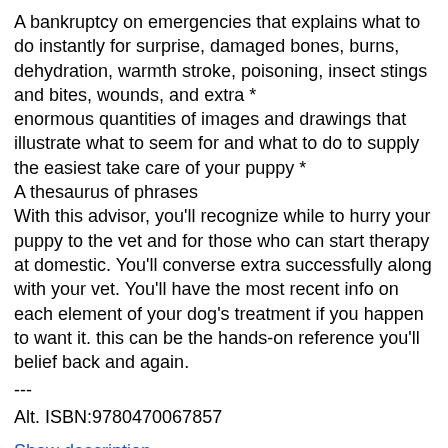A bankruptcy on emergencies that explains what to do instantly for surprise, damaged bones, burns, dehydration, warmth stroke, poisoning, insect stings and bites, wounds, and extra * enormous quantities of images and drawings that illustrate what to seem for and what to do to supply the easiest take care of your puppy * A thesaurus of phrases With this advisor, you'll recognize while to hurry your puppy to the vet and for those who can start therapy at domestic. You'll converse extra successfully along with your vet. You'll have the most recent info on each element of your dog's treatment if you happen to want it. this can be the hands-on reference you'll belief back and again.
---
Alt. ISBN:9780470067857
Show description
Read More Download Dog Owner's Home Veterinary